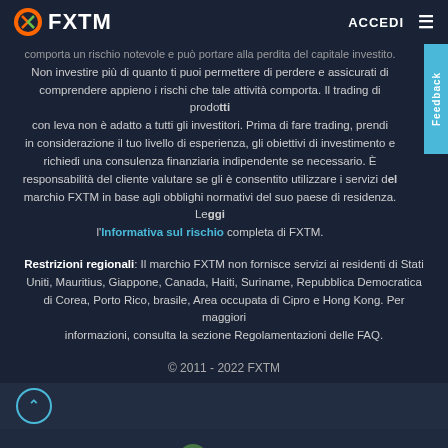FXTM — ACCEDI
comporta un rischio notevole e può portare alla perdita del capitale investito. Non investire più di quanto ti puoi permettere di perdere e assicurati di comprendere appieno i rischi che tale attività comporta. Il trading di prodotti con leva non è adatto a tutti gli investitori. Prima di fare trading, prendi in considerazione il tuo livello di esperienza, gli obiettivi di investimento e richiedi una consulenza finanziaria indipendente se necessario. È responsabilità del cliente valutare se gli è consentito utilizzare i servizi del marchio FXTM in base agli obblighi normativi del suo paese di residenza. Leggi l'Informativa sul rischio completa di FXTM.
Restrizioni regionali: Il marchio FXTM non fornisce servizi ai residenti di Stati Uniti, Mauritius, Giappone, Canada, Haiti, Suriname, Repubblica Democratica di Corea, Porto Rico, brasile, Area occupata di Cipro e Hong Kong. Per maggiori informazioni, consulta la sezione Regolamentazioni delle FAQ.
© 2011 - 2022 FXTM
Avvertenza di rischio: Il trading è rischioso. Il tuo capitale è a rischio. Exinity Limited è regolamentata dalla FSC (Mauritius).